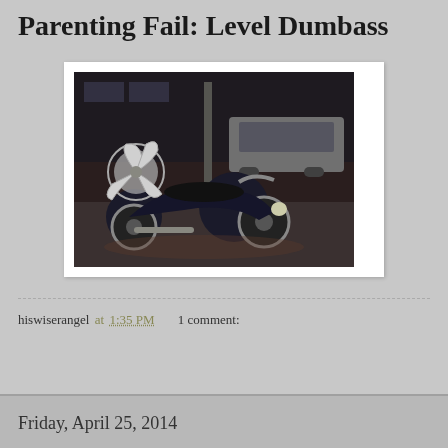Parenting Fail: Level Dumbass
[Figure (photo): A black motorcycle parked in a parking lot at night, with what appears to be a child seat or stroller attachment on the back. Cars visible in the background.]
hiswiserangel at 1:35 PM   1 comment:
Share
Friday, April 25, 2014